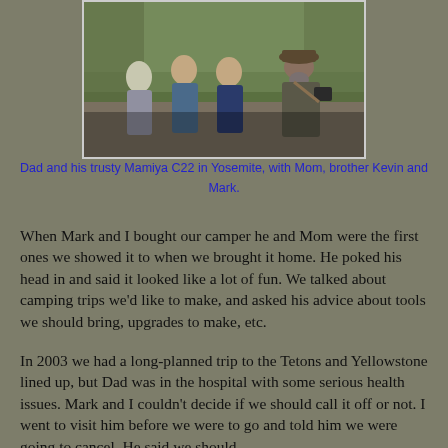[Figure (photo): Four people standing outdoors in Yosemite. From left: an older woman, two younger men, and an older man with a beard holding a camera (Mamiya C22). Trees and nature in background.]
Dad and his trusty Mamiya C22 in Yosemite, with Mom, brother Kevin and Mark.
When Mark and I bought our camper he and Mom were the first ones we showed it to when we brought it home. He poked his head in and said it looked like a lot of fun. We talked about camping trips we'd like to make, and asked his advice about tools we should bring, upgrades to make, etc.
In 2003 we had a long-planned trip to the Tetons and Yellowstone lined up, but Dad was in the hospital with some serious health issues. Mark and I couldn't decide if we should call it off or not. I went to visit him before we were to go and told him we were going to cancel. He said we should